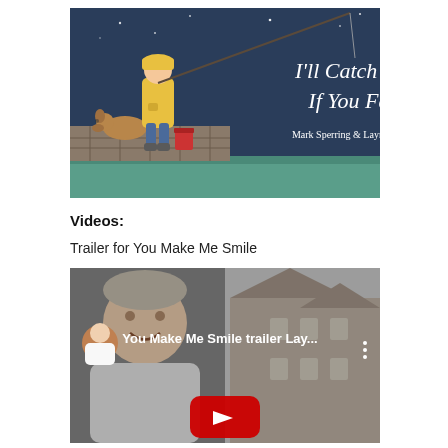[Figure (illustration): Book cover of 'I'll Catch You If You Fall' by Mark Sperring & Layn Marlow. Dark blue night sky background with a child in a yellow raincoat fishing with a rod, a dog beside them on a stone wall, red bucket nearby. White serif text title and author names.]
Videos:
Trailer for You Make Me Smile
[Figure (screenshot): YouTube video thumbnail for 'You Make Me Smile trailer Lay...' showing a woman smiling on the left and snowy/wintry cottage buildings on the right, with a red YouTube play button at the bottom center.]